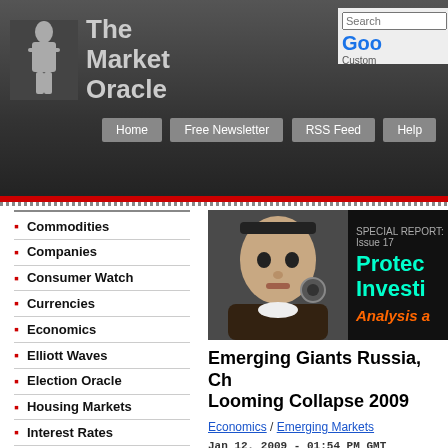The Market Oracle
Commodities
Companies
Consumer Watch
Currencies
Economics
Elliott Waves
Election Oracle
Housing Markets
Interest Rates
Investor Education
Market Oracle TV
Mega-Trend Forecasts
[Figure (photo): Article header image with woman/robot face on left and cyan text 'Protec Investi Analysis a' on dark background]
Emerging Giants Russia, Ch Looming Collapse 2009
Economics / Emerging Markets
Jan 12, 2009 - 01:54 PM GMT
By: Money_and_Markets
I hope you've had a great start to your New Year! At the same time, however, I trust you are not counting on the latest holiday rally in the stock market ... or the most re